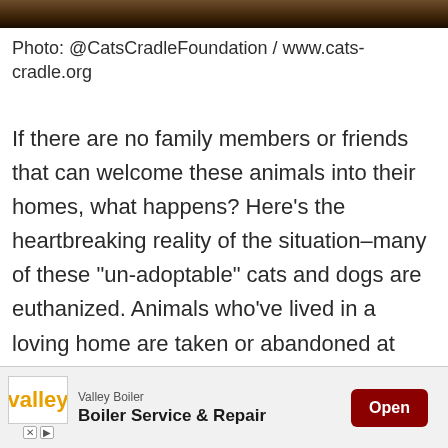[Figure (photo): Top strip showing partial animal photo (cat or dog fur), dark brown tones]
Photo: @CatsCradleFoundation / www.cats-cradle.org
If there are no family members or friends that can welcome these animals into their homes, what happens? Here’s the heartbreaking reality of the situation–many of these “un-adoptable” cats and dogs are euthanized. Animals who’ve lived in a loving home are taken or abandoned at shelters when they’ve got nowhere to go. Now they must battle against kittens and puppies for the attention of possible adopters. They’re scared though
[Figure (screenshot): Advertisement bar at bottom: Valley Boiler - Boiler Service & Repair, with Open button in dark red]